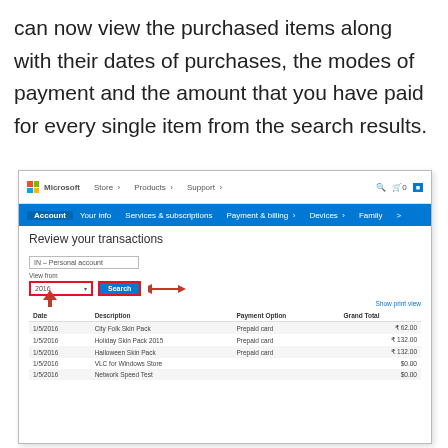can now view the purchased items along with their dates of purchases, the modes of payment and the amount that you have paid for every single item from the search results.
[Figure (screenshot): Microsoft Store account page showing 'Review your transactions' with a dropdown for 'IN - Personal account', a year field showing '2016' highlighted in red, a 'Search' button highlighted in red with an arrow pointing to it, an upward arrow below the year field, and a transaction table showing dates (1/5/2016), descriptions (City Folk Skin Pack, Holiday Skin Pack 2015, Halloween Skin Pack, VLC for Windows Store, Network Speed Test), Payment Options (Prepaid card, blank), and Grand Totals.]